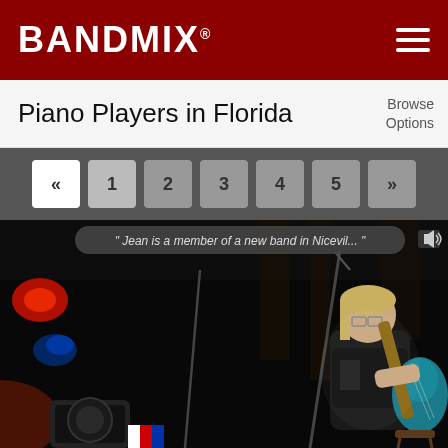BANDMIX®
Piano Players in Florida
Browse Options
« 1 2 3 4 5 »
[Figure (photo): Person playing electric guitar on a dark stage with stage lighting. A quote overlay reads: Jean is a member of a new band in Nicevil... with a speaker/audio icon.]